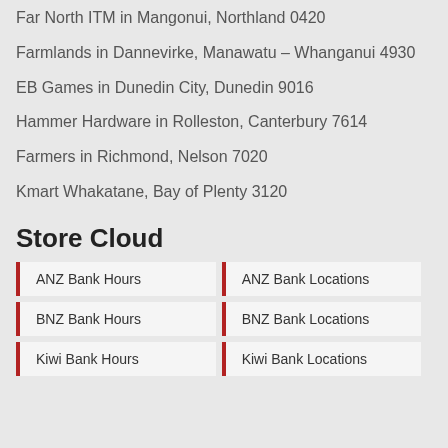Far North ITM in Mangonui, Northland 0420
Farmlands in Dannevirke, Manawatu – Whanganui 4930
EB Games in Dunedin City, Dunedin 9016
Hammer Hardware in Rolleston, Canterbury 7614
Farmers in Richmond, Nelson 7020
Kmart Whakatane, Bay of Plenty 3120
Store Cloud
ANZ Bank Hours
ANZ Bank Locations
BNZ Bank Hours
BNZ Bank Locations
Kiwi Bank Hours
Kiwi Bank Locations